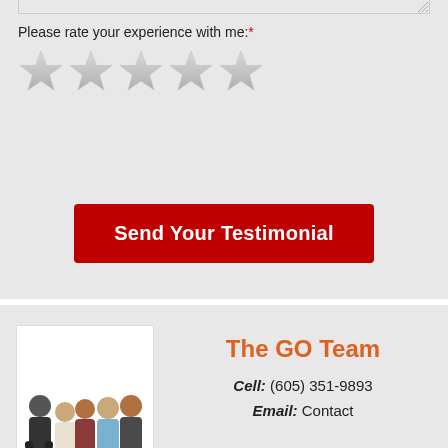Please rate your experience with me: *
[Figure (illustration): Five grey star rating icons in a row]
Send Your Testimonial
[Figure (photo): Group photo of The GO Team — five people standing together]
The GO Team
Cell: (605) 351-9893
Email: Contact